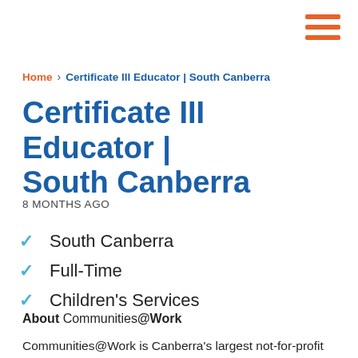[Figure (other): Hamburger menu icon with three orange horizontal bars in top-right corner]
Home > Certificate III Educator | South Canberra
Certificate III Educator | South Canberra
8 MONTHS AGO
South Canberra
Full-Time
Children's Services
About Communities@Work
Communities@Work is Canberra's largest not-for-profit community organisation, working with our community to